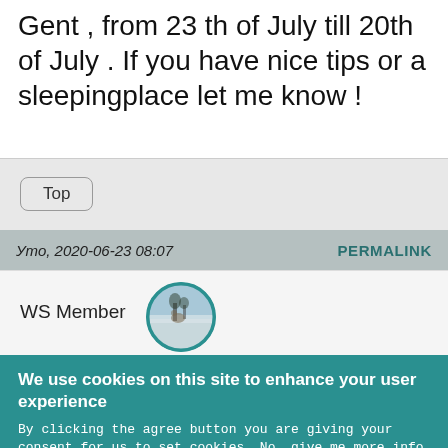Gent , from 23 th of July till 20th of July . If you have nice tips or a sleepingplace let me know !
Top
Уто, 2020-06-23 08:07   PERMALINK
[Figure (photo): Circular avatar photo showing a landscape with water and trees in misty/foggy conditions]
WS Member
We use cookies on this site to enhance your user experience
By clicking the agree button you are giving your consent for us to set cookies. No, give me more info
OK, I agree
Decline